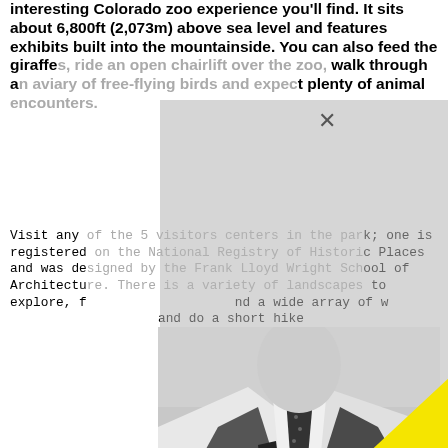interesting Colorado zoo experience you'll find. It sits about 6,800ft (2,073m) above sea level and features exhibits built into the mountainside. You can also feed the giraffes, ride an open chairlift over the zoo, walk through an aviary of free-flying birds and expect plenty of animal encounters.
Visit any of the 5 visitors centers in the park; one is registered on the National Registry of Historic Places and was designed by the Frank Lloyd Wright School of Architecture. There is a variety of landscapes to explore, f... nd a wide array of w... and do a short hike... ger treks, the scene... Arapaho National F...
Whether ye... r, take some time ... ion in the winter for s... lf to some hot chocolate while looking at the mountain views. Or, explore the hiking trails around town or play a leisurely round of golf. If you plan ahead, you can drop in during one of their charming summer festivals.
Red Rocks Park and Amphitheatre provides a unique natural landscape in which to listen to live music. Surrounded by and created from the incredible red sandstone monoliths from which it gets its name, the
[Figure (photo): Black and white photo of a man in a suit and tie with a yellow triangle overlay]